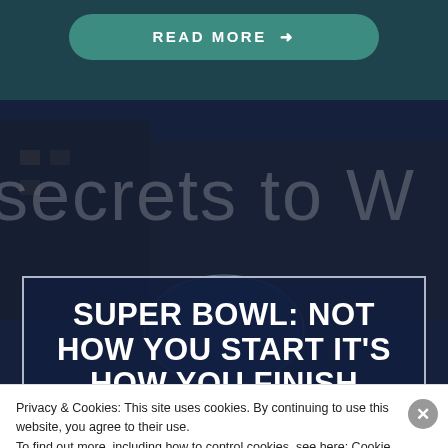[Figure (screenshot): Background image of a street scene with dark blue overlay and faded text 'secrets to W' visible]
READ MORE →
SUPER BOWL: NOT HOW YOU START IT'S HOW YOU FINISH
Privacy & Cookies: This site uses cookies. By continuing to use this website, you agree to their use.
To find out more, including how to control cookies, see here: Cookie Policy
Close and accept
email with more privacy.